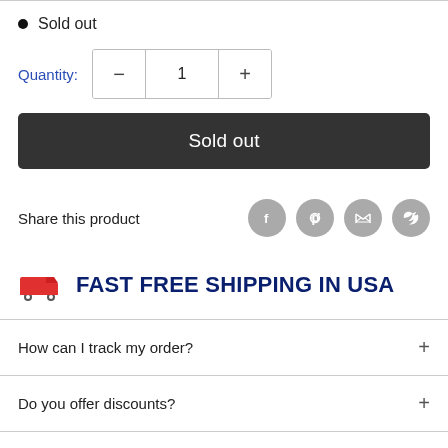Sold out
Quantity: − 1 +
Sold out
Share this product
FAST FREE SHIPPING IN USA
How can I track my order?
Do you offer discounts?